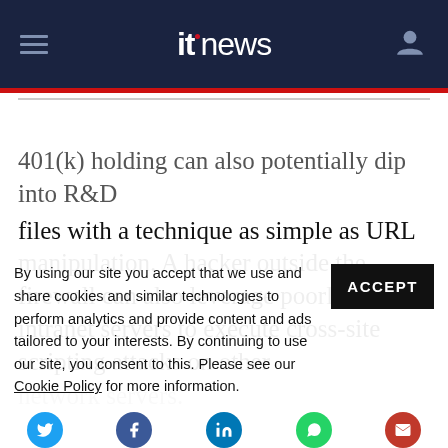itnews
401(k) holding can also potentially dip into R&D files with a technique as simple as URL manipulation. A hacker outside the firewall can also leverage poorly secured intranet servers to execute cross-site scripting attacks on other network servers.
By using our site you accept that we use and share cookies and similar technologies to perform analytics and provide content and ads tailored to your interests. By continuing to use our site, you consent to this. Please see our Cookie Policy for more information.